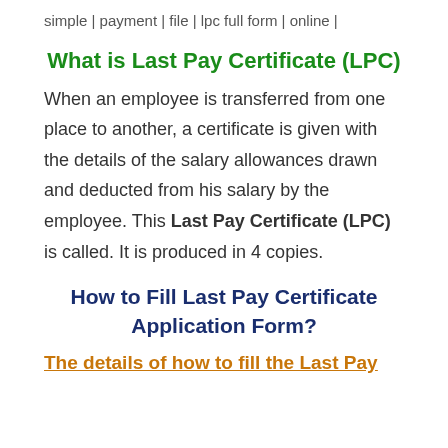simple | payment | file | lpc full form | online |
What is Last Pay Certificate (LPC)
When an employee is transferred from one place to another, a certificate is given with the details of the salary allowances drawn and deducted from his salary by the employee. This Last Pay Certificate (LPC) is called. It is produced in 4 copies.
How to Fill Last Pay Certificate Application Form?
The details of how to fill the Last Pay